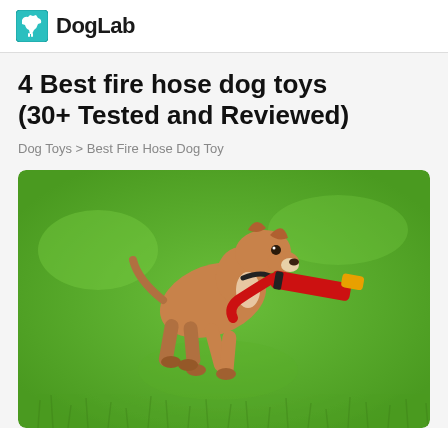DogLab
4 Best fire hose dog toys (30+ Tested and Reviewed)
Dog Toys > Best Fire Hose Dog Toy
[Figure (photo): A brown and white dog running on green grass while holding a red fire hose dog toy in its mouth]